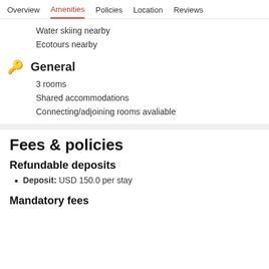Overview  Amenities  Policies  Location  Reviews
Water skiing nearby
Ecotours nearby
General
3 rooms
Shared accommodations
Connecting/adjoining rooms avaliable
Fees & policies
Refundable deposits
Deposit: USD 150.0 per stay
Mandatory fees